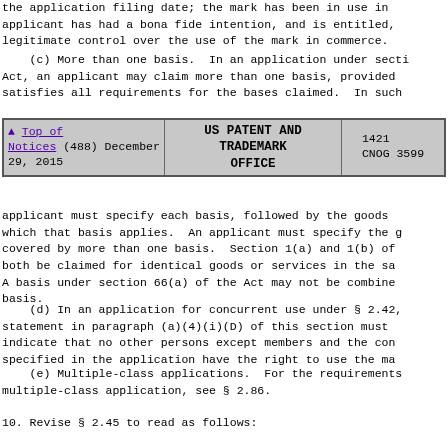the application filing date; the mark has been in use in applicant has had a bona fide intention, and is entitled, legitimate control over the use of the mark in commerce.
(c) More than one basis. In an application under secti Act, an applicant may claim more than one basis, provided satisfies all requirements for the bases claimed. In such
| Navigation | Issue | Office | Numbers |
| --- | --- | --- | --- |
| ▲ Top of Notices (488) December 29, 2015 | US PATENT AND TRADEMARK OFFICE | 1421 | CNOG 3599 |
applicant must specify each basis, followed by the goods which that basis applies. An applicant must specify the g covered by more than one basis. Section 1(a) and 1(b) of both be claimed for identical goods or services in the sa A basis under section 66(a) of the Act may not be combine basis.
(d) In an application for concurrent use under § 2.42, statement in paragraph (a)(4)(i)(D) of this section must indicate that no other persons except members and the con specified in the application have the right to use the ma
(e) Multiple-class applications. For the requirements multiple-class application, see § 2.86.
10. Revise § 2.45 to read as follows: